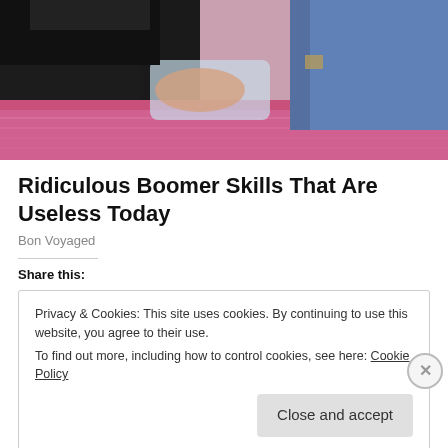[Figure (photo): Partial photo showing people on a pink/magenta satin couch or bedding, with someone in a black top and another in jeans, cropped at the top of the page.]
Ridiculous Boomer Skills That Are Useless Today
Bon Voyaged
Share this:
Privacy & Cookies: This site uses cookies. By continuing to use this website, you agree to their use.
To find out more, including how to control cookies, see here: Cookie Policy
Close and accept